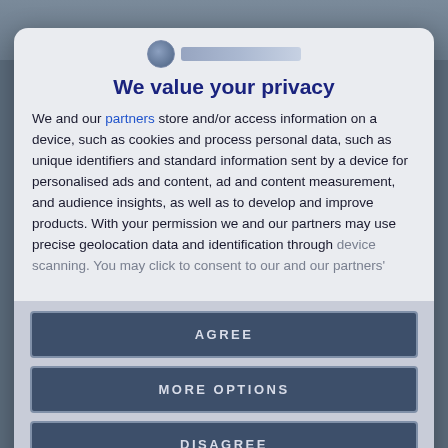[Figure (screenshot): Background photo of people, partially visible behind modal dialog]
[Figure (logo): Circular logo icon with text bar representing organization branding]
We value your privacy
We and our partners store and/or access information on a device, such as cookies and process personal data, such as unique identifiers and standard information sent by a device for personalised ads and content, ad and content measurement, and audience insights, as well as to develop and improve products. With your permission we and our partners may use precise geolocation data and identification through device scanning. You may click to consent to our and our partners'
AGREE
MORE OPTIONS
DISAGREE